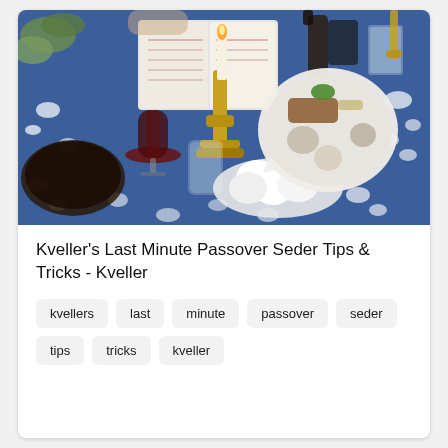[Figure (photo): A Passover Seder table set with a blue floral tablecloth, a lit white candle in a brass candlestick, a seder plate with foods, glasses of red wine, a bowl of eggs, and other dishes.]
Kveller's Last Minute Passover Seder Tips & Tricks - Kveller
kvellers
last
minute
passover
seder
tips
tricks
kveller